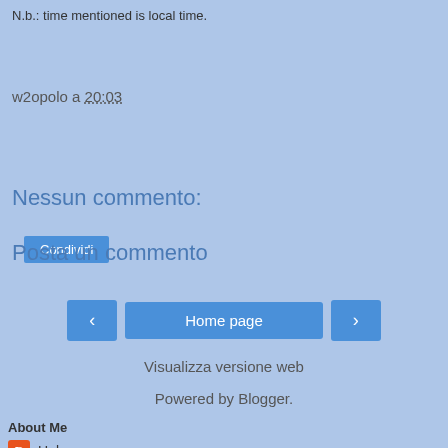N.b.: time mentioned is local time.
w2opolo a 20:03
Condividi
Nessun commento:
Posta un commento
‹  Home page  ›
Visualizza versione web
Powered by Blogger.
About Me
Unknown
w2opolo